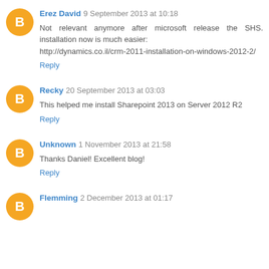Erez David 9 September 2013 at 10:18
Not relevant anymore after microsoft release the SHS. installation now is much easier:
http://dynamics.co.il/crm-2011-installation-on-windows-2012-2/
Reply
Recky 20 September 2013 at 03:03
This helped me install Sharepoint 2013 on Server 2012 R2
Reply
Unknown 1 November 2013 at 21:58
Thanks Daniel! Excellent blog!
Reply
Flemming 2 December 2013 at 01:17